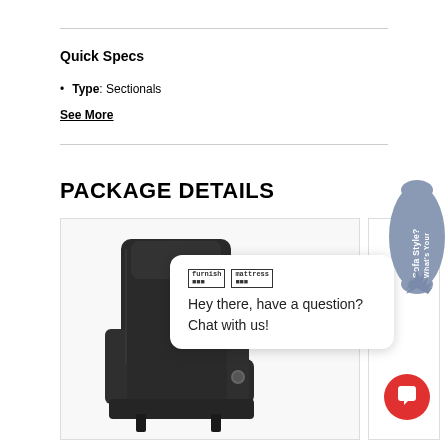Quick Specs
Type: Sectionals
See More
PACKAGE DETAILS
[Figure (photo): Dark charcoal/black leather power recliner chair with adjustable headrest and control button on armrest, shown partially in product listing box]
[Figure (screenshot): Chat widget overlay showing furnish and mattress logos and text: Hey there, have a question? Chat with us!]
[Figure (illustration): Sofa Style quiz badge/widget on right edge in blue-grey color with rotated text 'What's Your Sofa Style?']